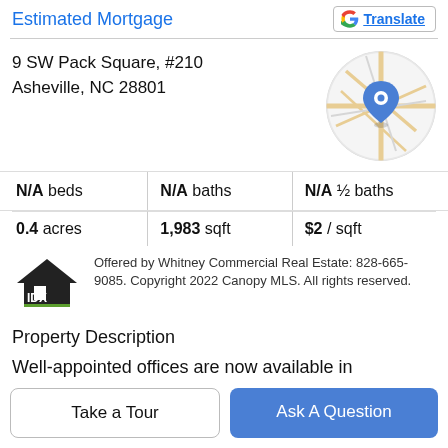Estimated Mortgage
Translate
9 SW Pack Square, #210
Asheville, NC 28801
[Figure (map): Circular map thumbnail showing location pin at 9 SW Pack Square, Asheville NC with street/road view]
N/A beds | N/A baths | N/A ½ baths
0.4 acres | 1,983 sqft | $2 / sqft
Offered by Whitney Commercial Real Estate: 828-665-9085. Copyright 2022 Canopy MLS. All rights reserved.
Property Description
Well-appointed offices are now available in downtown Ashevilles historic Adler Building. This recognizable
Take a Tour
Ask A Question